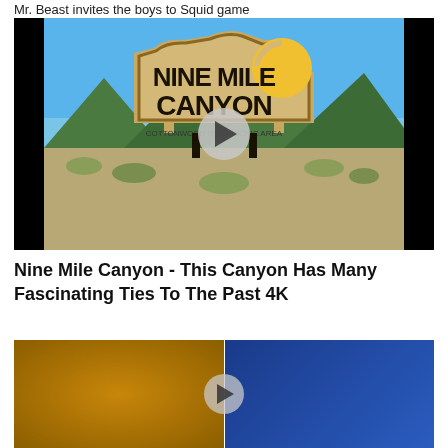Mr. Beast invites the boys to Squid game
[Figure (screenshot): Video thumbnail showing a sign for Nine Mile Canyon - Cottonwood Glen Picnic Area, with mountains and blue sky in the background. A play button is overlaid in the center.]
Nine Mile Canyon - This Canyon Has Many Fascinating Ties To The Past 4K
[Figure (screenshot): Video thumbnail split into two halves: left shows a snail-like puppet with googly eyes on a gold/brown bokeh background; right shows Kermit the Frog puppet on a blue background. A play button icon is overlaid.]